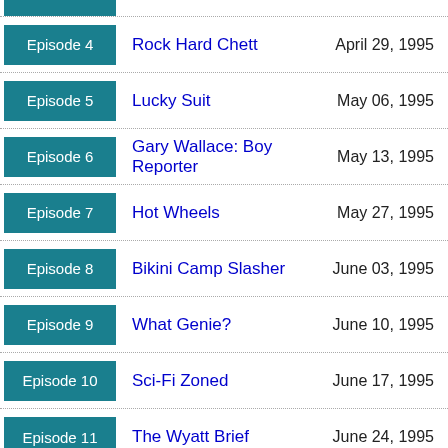Episode 4 | Rock Hard Chett | April 29, 1995
Episode 5 | Lucky Suit | May 06, 1995
Episode 6 | Gary Wallace: Boy Reporter | May 13, 1995
Episode 7 | Hot Wheels | May 27, 1995
Episode 8 | Bikini Camp Slasher | June 03, 1995
Episode 9 | What Genie? | June 10, 1995
Episode 10 | Sci-Fi Zoned | June 17, 1995
Episode 11 | The Wyatt Brief | June 24, 1995